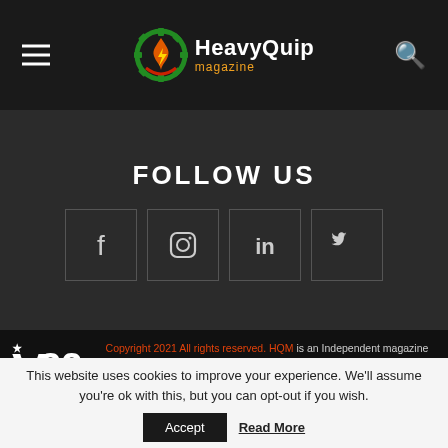HeavyQuip magazine
FOLLOW US
[Figure (other): Social media icons: Facebook, Instagram, LinkedIn, Twitter in bordered boxes]
Copyright 2021 All rights reserved. HQM is an Independent magazine owned by V22 media All rights reserved. Write Us to plan your advertisement or Media Partnership. Vat No. IT 02905201204 Privacy Policy | GDPR regulation
This website uses cookies to improve your experience. We'll assume you're ok with this, but you can opt-out if you wish.
Accept | Read More